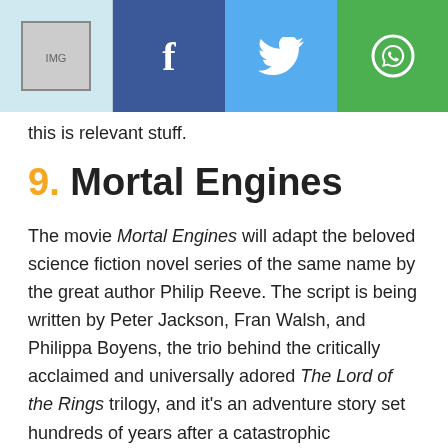[Figure (screenshot): Navigation toolbar with logo placeholder, Facebook, Twitter, WhatsApp share icons, and NEXT arrow button on black background]
this is relevant stuff.
9. Mortal Engines
The movie Mortal Engines will adapt the beloved science fiction novel series of the same name by the great author Philip Reeve. The script is being written by Peter Jackson, Fran Walsh, and Philippa Boyens, the trio behind the critically acclaimed and universally adored The Lord of the Rings trilogy, and it’s an adventure story set hundreds of years after a catastrophic apocalyptic event. The movie is set in a bizarre steampunk world of the future, where whole cities have been turned into motor vehicles that chase each other. Jackson won’t be directing Mortal